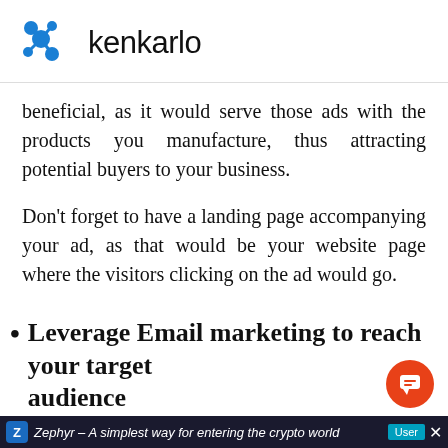[Figure (logo): Kenkarlo logo with blue molecular/gear icon and text 'kenkarlo']
beneficial, as it would serve those ads with the products you manufacture, thus attracting potential buyers to your business.
Don't forget to have a landing page accompanying your ad, as that would be your website page where the visitors clicking on the ad would go.
Leverage Email marketing to reach your target audience
Zephyr – A simplest way for entering the crypto world